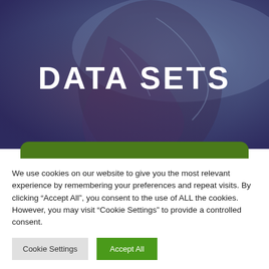[Figure (photo): Aerial satellite image of a coastline or geographical terrain with blue-purple tones, overlaid with large white bold text reading DATA SETS]
DATA SETS
We use cookies on our website to give you the most relevant experience by remembering your preferences and repeat visits. By clicking “Accept All”, you consent to the use of ALL the cookies. However, you may visit “Cookie Settings” to provide a controlled consent.
Cookie Settings
Accept All